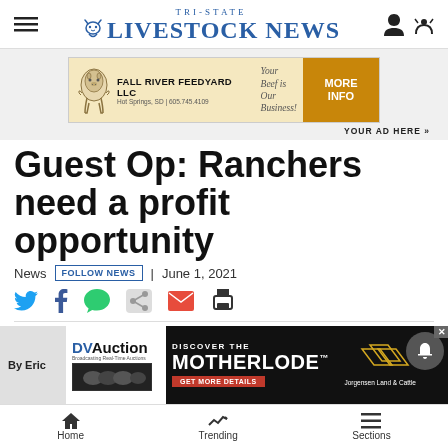Tri-State Livestock News
[Figure (other): Advertisement banner for Fall River Feedyard LLC with cow illustration, text 'FALL RIVER FEEDYARD LLC Your Beef is Our Business! Hot Springs, SD | 605.745.4109' and orange MORE INFO button]
YOUR AD HERE »
Guest Op: Ranchers need a profit opportunity
News | FOLLOW NEWS | June 1, 2021
[Figure (other): Advertisement for DVAuction - Discover the Motherlode, Jorgensen Land & Cattle]
Home | Trending | Sections